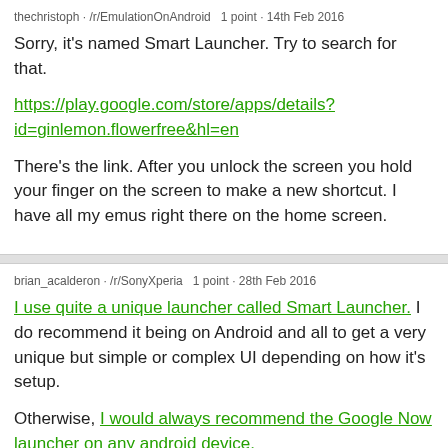thechristoph · /r/EmulationOnAndroid   1 point · 14th Feb 2016
Sorry, it's named Smart Launcher. Try to search for that.
https://play.google.com/store/apps/details?id=ginlemon.flowerfree&amp;hl=en
There's the link. After you unlock the screen you hold your finger on the screen to make a new shortcut. I have all my emus right there on the home screen.
brian_acalderon · /r/SonyXperia   1 point · 28th Feb 2016
I use quite a unique launcher called Smart Launcher. I do recommend it being on Android and all to get a very unique but simple or complex UI depending on how it's setup.
Otherwise, I would always recommend the Google Now launcher on any android device.